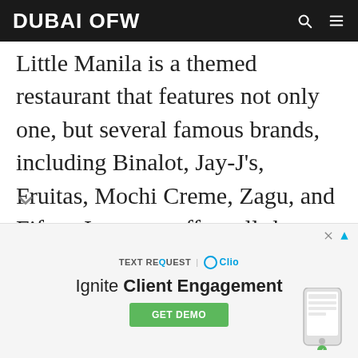DUBAI OFW
Little Manila is a themed restaurant that features not only one, but several famous brands, including Binalot, Jay-J’s, Fruitas, Mochi Creme, Zagu, and Fiftea. Its menu offers all-day breakfast “silog” meals (i.e. meat served with garlic fried rice and fried egg), such as hotsilog, liemposilog, silog, tapsilog, and tosilog.
[Figure (other): Advertisement banner for Text Request and Clio: 'Ignite Client Engagement' with a GET DEMO button]